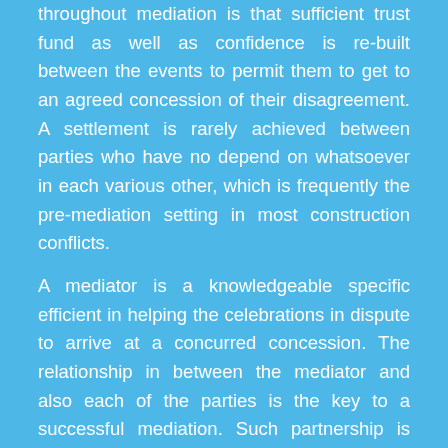throughout mediation is that sufficient trust fund as well as confidence is re-built between the events to permit them to get to an agreed concession of their disagreement. A settlement is rarely achieved between parties who have no depend on whatsoever in each various other, which is frequently the pre-mediation setting in most construction conflicts.
A mediator is a knowledgeable specific efficient in helping the celebrations in dispute to arrive at a concurred concession. The relationship in between the mediator and also each of the parties is the key to a successful mediation. Such partnership is once more among depend on and self-confidence. A mediator needs to build a trusting connection in between himself as well as